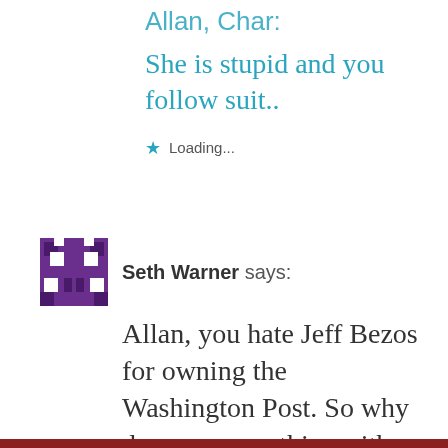She is stupid and you follow suit..
Loading...
Seth Warner says:
Allan, you hate Jeff Bezos for owning the Washington Post. So why do you sympathize with him here??
Loading...